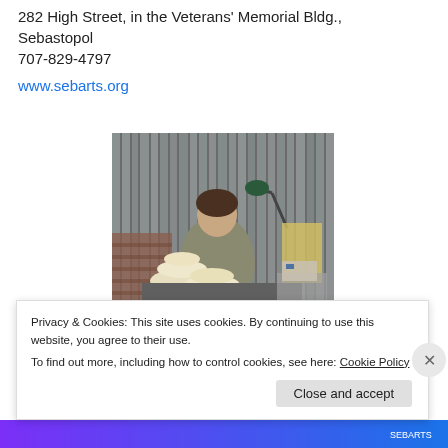282 High Street, in the Veterans' Memorial Bldg.,
Sebastopol
707-829-4797
www.sebarts.org
[Figure (photo): A person working at a pottery wheel surrounded by ceramic bowls in a workshop with plastic curtains in the background and a lamp overhead.]
Privacy & Cookies: This site uses cookies. By continuing to use this website, you agree to their use.
To find out more, including how to control cookies, see here: Cookie Policy
Close and accept